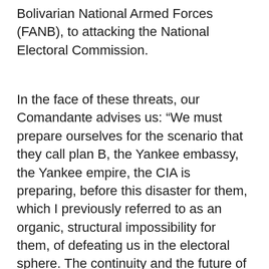Bolivarian National Armed Forces (FANB), to attacking the National Electoral Commission.
In the face of these threats, our Comandante advises us: “We must prepare ourselves for the scenario that they call plan B, the Yankee embassy, the Yankee empire, the CIA is preparing, before this disaster for them, which I previously referred to as an organic, structural impossibility for them, of defeating us in the electoral sphere. The continuity and the future of the Bolivarian Revolution are in the unity, organisation and consciousness of the civic and military People”.
The ultra-right argues that the FANB is preparing a coup in the event of an unfavourable vote for Chavez. Their strategy